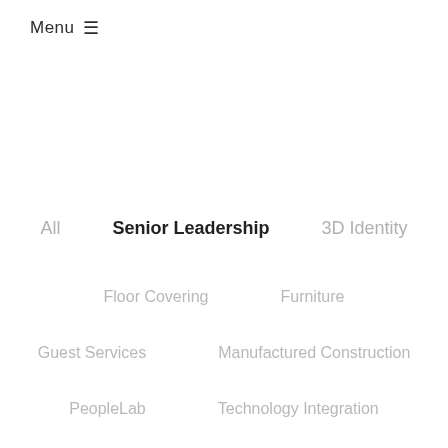Menu ☰
All
Senior Leadership
3D Identity
Floor Covering
Furniture
Guest Services
Manufactured Construction
PeopleLab
Technology Integration